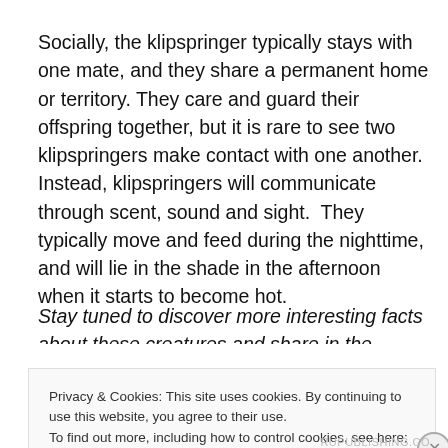Socially, the klipspringer typically stays with one mate, and they share a permanent home or territory. They care and guard their offspring together, but it is rare to see two klipspringers make contact with one another. Instead, klipspringers will communicate through scent, sound and sight.  They typically move and feed during the nighttime, and will lie in the shade in the afternoon when it starts to become hot.
Stay tuned to discover more interesting facts about these creatures and share in the comments if there are any
Privacy & Cookies: This site uses cookies. By continuing to use this website, you agree to their use.
To find out more, including how to control cookies, see here: Cookie Policy
Close and accept